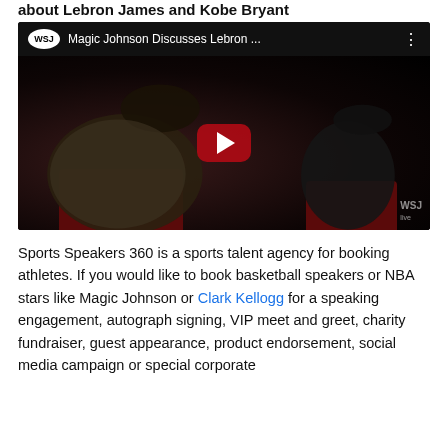about Lebron James and Kobe Bryant
[Figure (screenshot): YouTube video thumbnail showing WSJ video titled 'Magic Johnson Discusses Lebron ...' with two men seated in a dark studio setting with red chairs. A red YouTube play button is centered on the image. WSJ watermark visible bottom right.]
Sports Speakers 360 is a sports talent agency for booking athletes. If you would like to book basketball speakers or NBA stars like Magic Johnson or Clark Kellogg for a speaking engagement, autograph signing, VIP meet and greet, charity fundraiser, guest appearance, product endorsement, social media campaign or special corporate